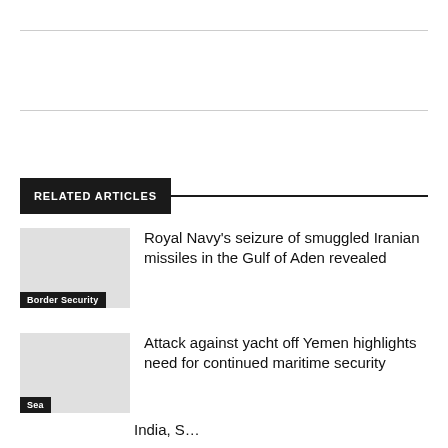RELATED ARTICLES
Royal Navy’s seizure of smuggled Iranian missiles in the Gulf of Aden revealed
Border Security
Attack against yacht off Yemen highlights need for continued maritime security
Sea
India, S…